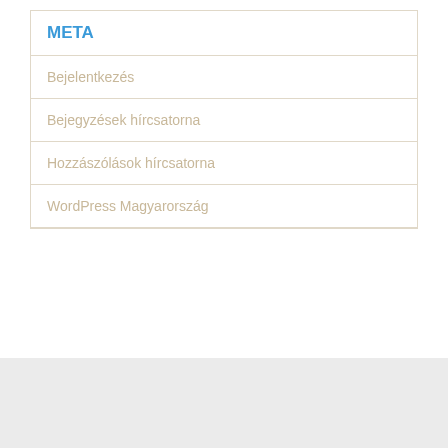META
Bejelentkezés
Bejegyzések hírcsatorna
Hozzászólások hírcsatorna
WordPress Magyarország
Fejlesztő: Genion  2016